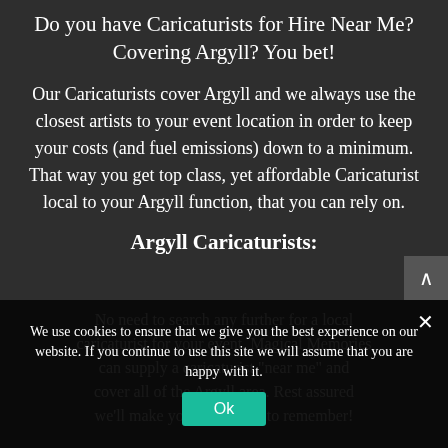Do you have Caricaturists for Hire Near Me? Covering Argyll? You bet!
Our Caricaturists cover Argyll and we always use the closest artists to your event location in order to keep your costs (and fuel emissions) down to a minimum. That way you get top class, yet affordable Caricaturist local to your Argyll function, that you can rely on.
Argyll Caricaturists:
No need to search any further for a local caricaturist for your event. Magical Memories can supply a caricaturist "near me" and cover all of the Argyll area. Rest assured we'll make your event one to remember!
We use cookies to ensure that we give you the best experience on our website. If you continue to use this site we will assume that you are happy with it.